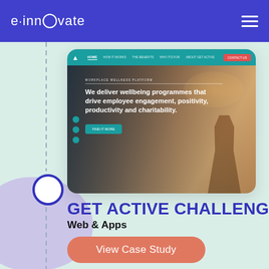e·innovate
[Figure (screenshot): Screenshot of a website for Get Active Challenges showing a tablet mockup with a wellness platform hero image. The site header is teal with navigation links. The hero section shows a person standing on a mountain with text: 'We deliver wellbeing programmes that drive employee engagement, positivity, productivity and charitability.']
GET ACTIVE CHALLENGES
Web & Apps
View Case Study